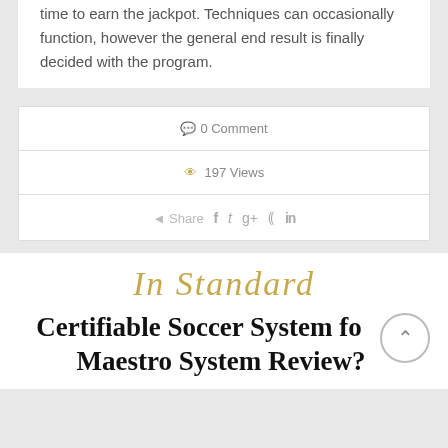time to earn the jackpot. Techniques can occasionally function, however the general end result is finally decided with the program.
0 Comment
197 Views
Share  f  t  g+  p  in
[Figure (logo): In Standard script logo in gold italic text]
Certifiable Soccer System for Maestro System Review?